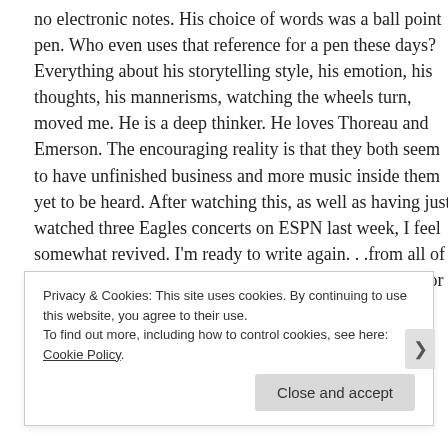no electronic notes. His choice of words was a ball point pen. Who even uses that reference for a pen these days? Everything about his storytelling style, his emotion, his thoughts, his mannerisms, watching the wheels turn, moved me. He is a deep thinker. He loves Thoreau and Emerson. The encouraging reality is that they both seem to have unfinished business and more music inside them yet to be heard. After watching this, as well as having just watched three Eagles concerts on ESPN last week, I feel somewhat revived. I'm ready to write again. . .from all of those thoughts I tuck away in my mental box – and color note, of course.
#ThankYouDonHenley #MyFavoriteEagle
#ILoveYouJustTheWayYouAre #Memories
Privacy & Cookies: This site uses cookies. By continuing to use this website, you agree to their use. To find out more, including how to control cookies, see here: Cookie Policy